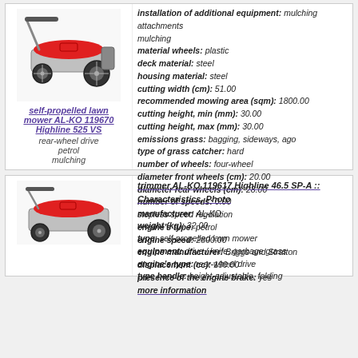[Figure (photo): Red self-propelled lawn mower AL-KO 119670 Highline 525 VS product image]
self-propelled lawn mower AL-KO 119670 Highline 525 VS
rear-wheel drive
petrol
mulching
Installation of additional equipment: mulching attachments
mulching
material wheels: plastic
deck material: steel
housing material: steel
cutting width (cm): 51.00
recommended mowing area (sqm): 1800.00
cutting height, min (mm): 30.00
cutting height, max (mm): 30.00
emissions grass: bagging, sideways, ago
type of grass catcher: hard
number of wheels: four-wheel
diameter front wheels (cm): 20.00
diameter rear wheels (cm): 28.00
number of speeds: 0.00
stepless speed regulation
engine's type: petrol
engine speed: 2800.00
engine manufacturer: Briggs and Stratton
displacement (cc): 190.00
presence of the engine brake: yes
more information
[Figure (photo): Trimmer / lawn mower product image (partially visible)]
trimmer AL-KO 119617 Highline 46.5 SP-A :: Characteristics, Photo
manufacturer: AL-KO
weight (kg): 32.00
type: self-propelled lawn mower
equipment: drive / knife, garbage grass
engine's type: rear-wheel drive
type handle: height-adjustable, folding